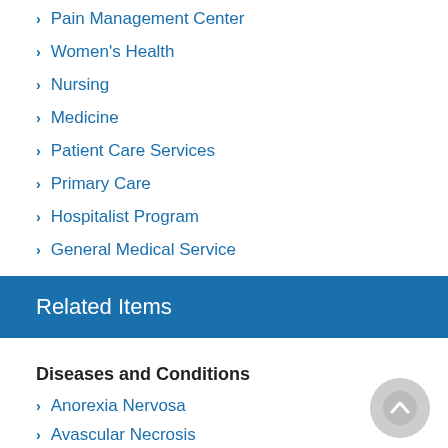Pain Management Center
Women's Health
Nursing
Medicine
Patient Care Services
Primary Care
Hospitalist Program
General Medical Service
Related Items
Diseases and Conditions
Anorexia Nervosa
Avascular Necrosis
View All 30
Pediatric Diseases and Conditions